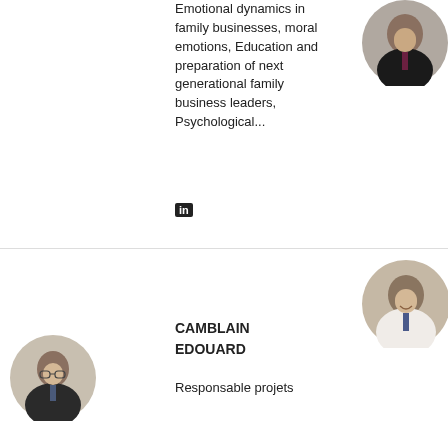Emotional dynamics in family businesses, moral emotions, Education and preparation of next generational family business leaders, Psychological...
[Figure (photo): Circular portrait photo of a man in dark suit with tie, top right area]
PHD
Director EDHEC Infrastructure Institute (Singapore)
Infrastructure Investing
in (LinkedIn icon)
in (LinkedIn icon)
[Figure (photo): Circular portrait photo of a smiling man in white shirt with tie, bottom right area]
COURTOIS PIERRE
Research EDHEC Business Research Director Observatory corporate...
[Figure (photo): Circular portrait photo of a man with glasses in a suit, bottom left]
CAMBLAIN EDOUARD
Responsable projets